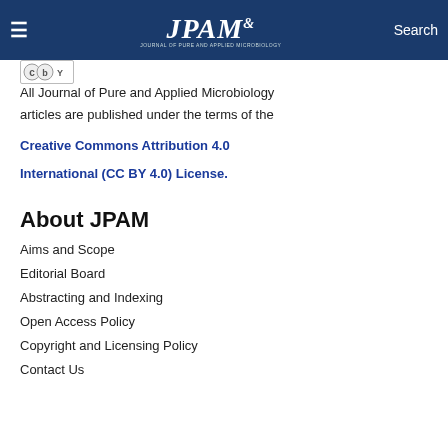JPAM — Journal of Pure and Applied Microbiology | Search
[Figure (logo): Creative Commons BY license badge]
All Journal of Pure and Applied Microbiology articles are published under the terms of the
Creative Commons Attribution 4.0 International (CC BY 4.0) License.
About JPAM
Aims and Scope
Editorial Board
Abstracting and Indexing
Open Access Policy
Copyright and Licensing Policy
Contact Us